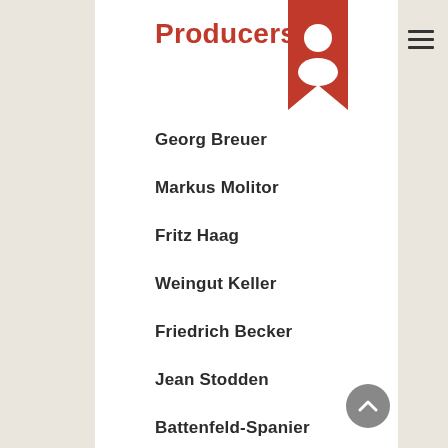Producers
Georg Breuer
Markus Molitor
Fritz Haag
Weingut Keller
Friedrich Becker
Jean Stodden
Battenfeld-Spanier
Dönnhoff
Bernhard Huber
Kuehling-Gillot